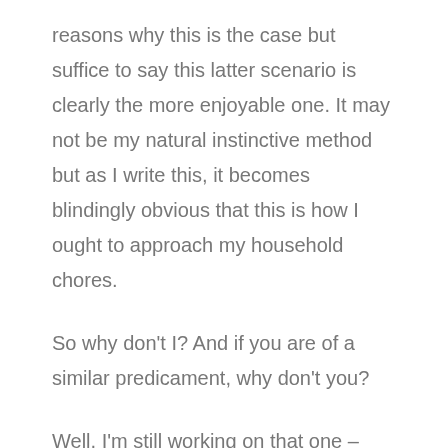reasons why this is the case but suffice to say this latter scenario is clearly the more enjoyable one. It may not be my natural instinctive method but as I write this, it becomes blindingly obvious that this is how I ought to approach my household chores.
So why don't I? And if you are of a similar predicament, why don't you?
Well, I'm still working on that one – we're complex beings and we don't always make sense or do what's best for us. However, what I have discovered is a little technique that can give us a